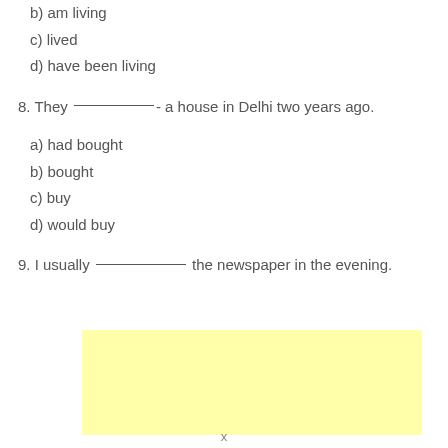b) am living
c) lived
d) have been living
8. They —————- a house in Delhi two years ago.
a) had bought
b) bought
c) buy
d) would buy
9. I usually —————— the newspaper in the evening.
[Figure (other): Yellow advertisement or answer box placeholder]